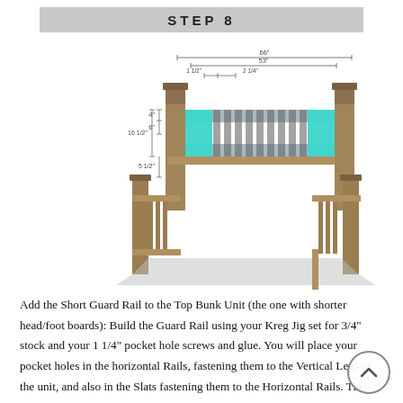STEP 8
[Figure (engineering-diagram): 3D perspective diagram of a bunk bed showing the Short Guard Rail highlighted in teal/cyan on the Top Bunk Unit. The guard rail consists of horizontal rails and vertical slats. Dimension annotations are shown: 66" total width, 53" inner width, 1 1/2" and 2 1/4" spacings, 4" height, 6" height, 16 1/2" and 5 1/2" vertical measurements.]
Add the Short Guard Rail to the Top Bunk Unit (the one with shorter head/foot boards): Build the Guard Rail using your Kreg Jig set for 3/4" stock and your 1 1/4" pocket hole screws and glue. You will place your pocket holes in the horizontal Rails, fastening them to the Vertical Legs of the unit, and also in the Slats fastening them to the Horizontal Rails. Then fasten the Guard Rail Unit to the Bed by securing it to the Bed Rails and to the Foot Board. Use your 2" wood screws and glue to secure to the Rail and your Kreg Jig set for 3/4" stock and your 1 1/4" pocket hole screws and glue